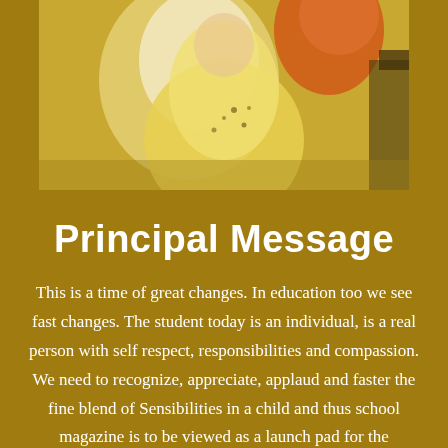[Figure (photo): Photo of a person in a yellow dress with an orange accessory, partially visible, cropped at the bottom of a school magazine page header.]
Principal Message
This is a time of great changes. In education too we see fast changes. The student today is an individual, is a real person with self respect, responsibilities and compassion. We need to recognize, appreciate, applaud and faster the fine blend of Sensibilities in a child and thus school magazine is to be viewed as a launch pad for the children's creative urges to blossom naturally. As saying goes "Mind like parachute works best when opened". This humble